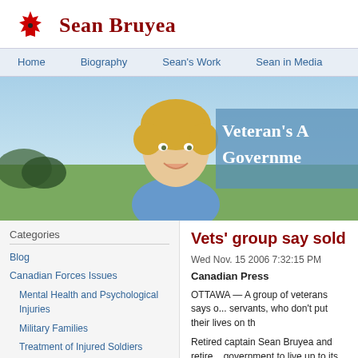[Figure (logo): Sean Bruyea website logo with red maple leaf icon and site name in dark red serif font]
Home | Biography | Sean's Work | Sean in Media | Pri...
[Figure (photo): Hero banner with smiling man with blond hair in blue shirt, outdoor background, text overlay reading Veteran's A... Governme...]
Categories
Blog
Canadian Forces Issues
Mental Health and Psychological Injuries
Military Families
Treatment of Injured Soldiers
Unfair Deductions from Long Term
Vets' group say sold...
Wed Nov. 15 2006 7:32:15 PM
Canadian Press
OTTAWA — A group of veterans says o... servants, who don't put their lives on th...
Retired captain Sean Bruyea and retire... government to live up to its pledge to c...